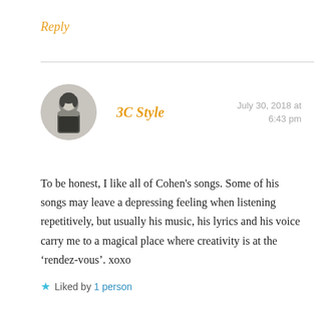Reply
3C Style
July 30, 2018 at 6:43 pm
To be honest, I like all of Cohen's songs. Some of his songs may leave a depressing feeling when listening repetitively, but usually his music, his lyrics and his voice carry me to a magical place where creativity is at the ‘rendez-vous’. xoxo
Liked by 1 person